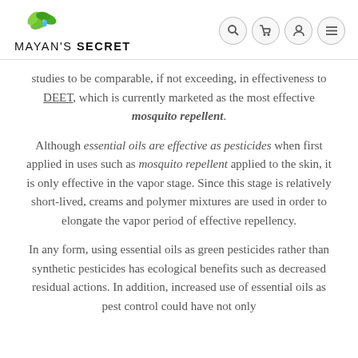[Figure (logo): Mayan's Secret logo with green leaf graphic and text]
studies to be comparable, if not exceeding, in effectiveness to DEET, which is currently marketed as the most effective mosquito repellent.
Although essential oils are effective as pesticides when first applied in uses such as mosquito repellent applied to the skin, it is only effective in the vapor stage. Since this stage is relatively short-lived, creams and polymer mixtures are used in order to elongate the vapor period of effective repellency.
In any form, using essential oils as green pesticides rather than synthetic pesticides has ecological benefits such as decreased residual actions. In addition, increased use of essential oils as pest control could have not only